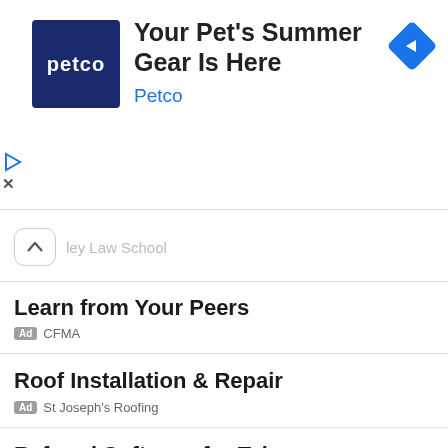[Figure (other): Petco advertisement banner with Petco logo (dark blue square with white 'petco' text), headline 'Your Pet's Summer Gear Is Here', brand name 'Petco' in blue, and a blue diamond navigation icon on the right.]
ley Law School
Learn from Your Peers
Ad CFMA
Roof Installation & Repair
Ad St Joseph's Roofing
Referral Software for Telecom
Ad SaaSquatch
Western Express – Truck Driver Jobs